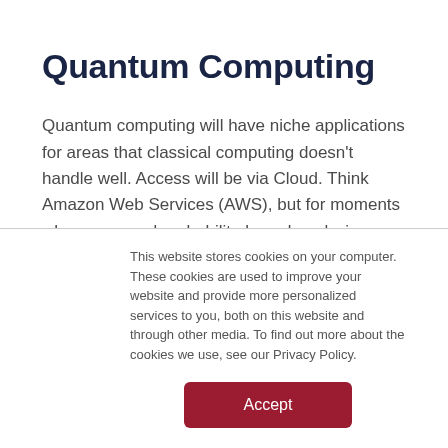Quantum Computing
Quantum computing will have niche applications for areas that classical computing doesn’t handle well. Access will be via Cloud. Think Amazon Web Services (AWS), but for moments when you need probability-based analysis. Applications are years away. Cyber will be an early use-case. The U.S. National Institute of
This website stores cookies on your computer. These cookies are used to improve your website and provide more personalized services to you, both on this website and through other media. To find out more about the cookies we use, see our Privacy Policy.
Accept